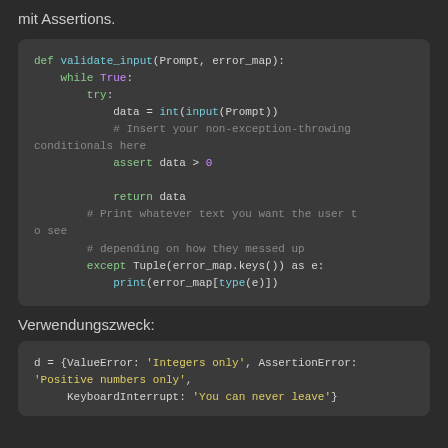mit Assertions.
[Figure (screenshot): Python code block showing validate_input function with while loop, try/except, assert statement, and return]
Verwendungszweck:
[Figure (screenshot): Python code block showing dictionary d with ValueError, AssertionError, KeyboardInterrupt keys]